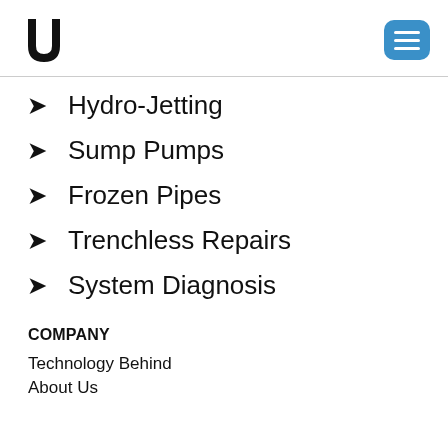Logo and menu button
Hydro-Jetting
Sump Pumps
Frozen Pipes
Trenchless Repairs
System Diagnosis
COMPANY
Technology Behind
About Us